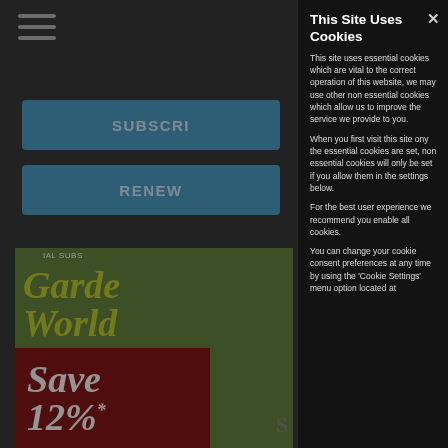[Figure (screenshot): Background of a website showing a subscribe button, renew button, and a magazine cover for 'Gardens World' with 'Save 12%*' banner, and hamburger menu icon. Page is partially obscured by a dark overlay.]
This Site Uses Cookies
This site uses essential cookies which are vital to the correct operation of this website, we may use other non essential cookies which allow us to improve the service we provide to you.
When you first visit this site ony the essential cookies are set, non essential cookies will only be set if you allow them in the settings below.
For the best user experience we recommend you enable all cookies.
You can change your cookie consent preferences at any time by using the 'Cookie Settings' menu option located at